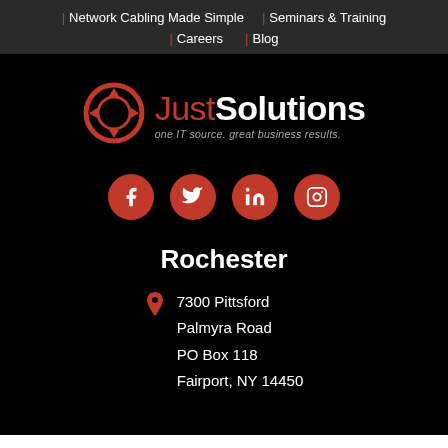| Network Cabling Made Simple | Seminars & Training | Careers | Blog
[Figure (logo): JustSolutions logo with red circular icon and tagline: one IT source. great business results.]
[Figure (infographic): Four red circular social media icons: Facebook, Twitter, LinkedIn, Instagram]
Rochester
7300 Pittsford Palmyra Road PO Box 118 Fairport, NY 14450